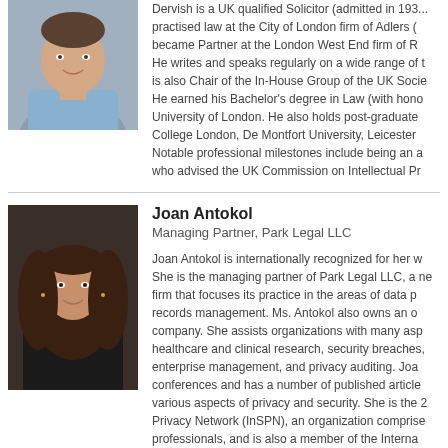[Figure (photo): Headshot of a man in a light blue shirt, smiling, against a blurred background.]
Dervish is a UK qualified Solicitor (admitted in 19... practised law at the City of London firm of Adlers (... became Partner at the London West End firm of R... He writes and speaks regularly on a wide range of... is also Chair of the In-House Group of the UK Socie... He earned his Bachelor's degree in Law (with hono... University of London. He also holds post-graduate... College London, De Montfort University, Leicester... Notable professional milestones include being an a... who advised the UK Commission on Intellectual Pr...
[Figure (photo): Headshot of Joan Antokol, a woman with long brown hair, smiling, wearing a dark top.]
Joan Antokol
Managing Partner, Park Legal LLC
Joan Antokol is internationally recognized for her w... She is the managing partner of Park Legal LLC, a ne... firm that focuses its practice in the areas of data p... records management. Ms. Antokol also owns an o... company. She assists organizations with many asp... healthcare and clinical research, security breaches,... enterprise management, and privacy auditing. Joa... conferences and has a number of published article... various aspects of privacy and security. She is the 2... Privacy Network (InSPN), an organization comprise... professionals, and is also a member of the Interna...